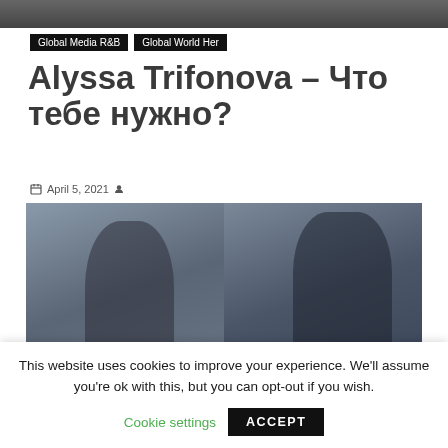[Figure (photo): Top partial image strip showing people, cropped at top of page]
Global Media R&B  Global World Her
Alyssa Trifonova – Что тебе нужно?
April 5, 2021
[Figure (photo): Two figures in dark clothing and caps, blurred artistic photo]
This website uses cookies to improve your experience. We'll assume you're ok with this, but you can opt-out if you wish.
Cookie settings  ACCEPT